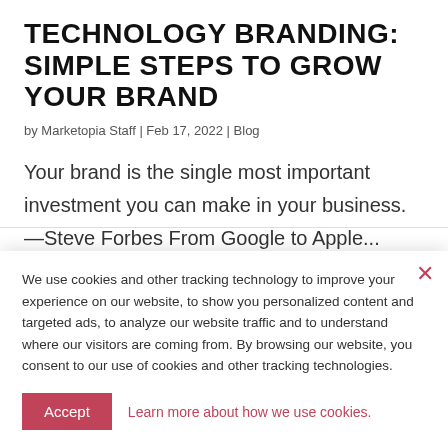TECHNOLOGY BRANDING: SIMPLE STEPS TO GROW YOUR BRAND
by Marketopia Staff | Feb 17, 2022 | Blog
Your brand is the single most important investment you can make in your business. —Steve Forbes From Google to Apple...
We use cookies and other tracking technology to improve your experience on our website, to show you personalized content and targeted ads, to analyze our website traffic and to understand where our visitors are coming from. By browsing our website, you consent to our use of cookies and other tracking technologies.
Accept   Learn more about how we use cookies.